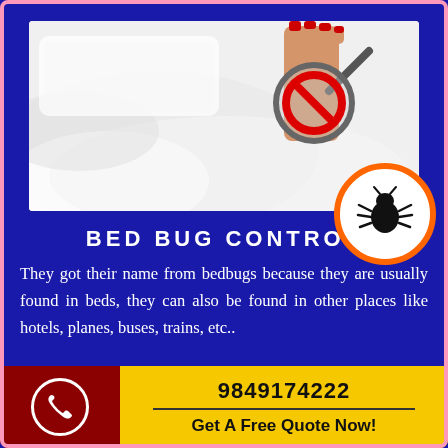[Figure (photo): A hand with red nails holding a magnifying glass with a red no/stop symbol over a white bed with sheets, with a bed bug icon in an orange-bordered white circle at the bottom right of the image]
BED BUG CONTROL
They got their name from bedbugs because they are usually found in beds, they can also be found in other places like hotels, planes, buses, trains, etc..
9849174222
Get A Free Quote Now!